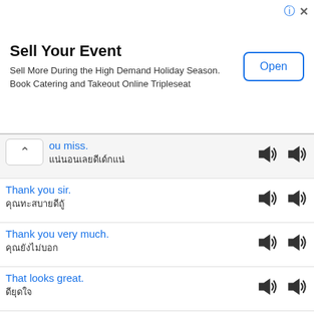[Figure (screenshot): Advertisement banner for Tripleseat: 'Sell Your Event' with 'Open' button]
...ou miss.
[Thai script]
Thank you sir.
[Thai script]
Thank you very much.
[Thai script]
That looks great.
[Thai script]
That's alright.
[Thai script]
That's enough.
[Thai script]